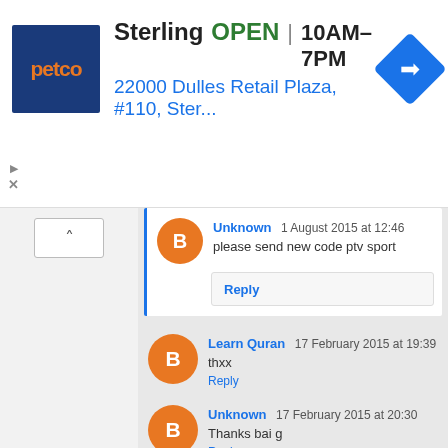[Figure (screenshot): Petco advertisement banner showing Sterling store, OPEN 10AM–7PM, address 22000 Dulles Retail Plaza, #110, Ster...]
Unknown  1 August 2015 at 12:46
please send new code ptv sport
Reply
Learn Quran  17 February 2015 at 19:39
thxx
Reply
Unknown  17 February 2015 at 20:30
Thanks bai g
Reply